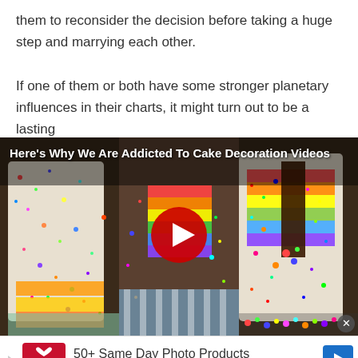them to reconsider the decision before taking a huge step and marrying each other.

If one of them or both have some stronger planetary influences in their charts, it might turn out to be a lasting
[Figure (screenshot): Video thumbnail showing colorful sprinkle-covered cakes with title 'Here's Why We Are Addicted To Cake Decoration Videos' and a red play button in the center.]
[Figure (other): CVS Pharmacy advertisement: '50+ Same Day Photo Products' and 'CVS Photo' with CVS logo and navigation arrow icon.]